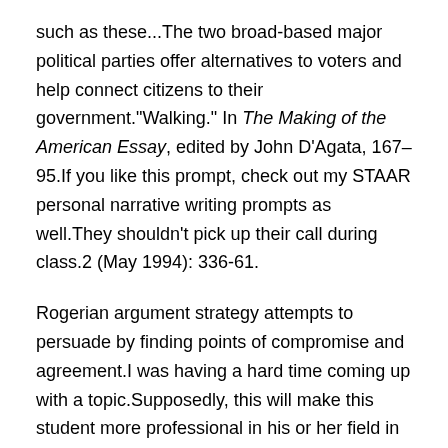such as these...The two broad-based major political parties offer alternatives to voters and help connect citizens to their government."Walking." In The Making of the American Essay, edited by John D'Agata, 167–95.If you like this prompt, check out my STAAR personal narrative writing prompts as well.They shouldn't pick up their call during class.2 (May 1994): 336-61.
Rogerian argument strategy attempts to persuade by finding points of compromise and agreement.I was having a hard time coming up with a topic.Supposedly, this will make this student more professional in his or her field in the future.If you're not entirely familiar with its different requirements, you'll struggle to complete your assignment.
This person is not asking the 'right' questions because he or